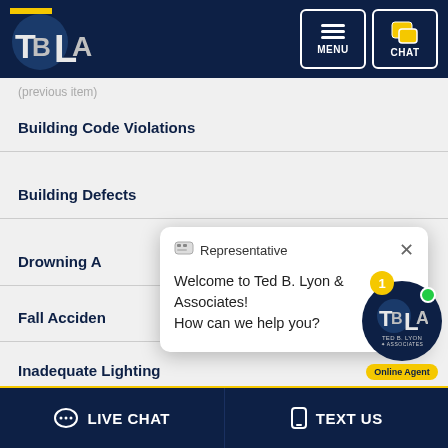[Figure (logo): Ted B. Lyon & Associates (TBLA) logo with golden yellow accent on dark navy background]
Building Code Violations
Building Defects
Drowning A[ccidents]
Fall Acciden[ts]
Inadequate Lighting
Inadequate Security
Representative
Welcome to Ted B. Lyon & Associates! How can we help you?
[Figure (logo): TBLA chat widget with notification badge showing 1, Online Agent button in yellow]
LIVE CHAT   TEXT US